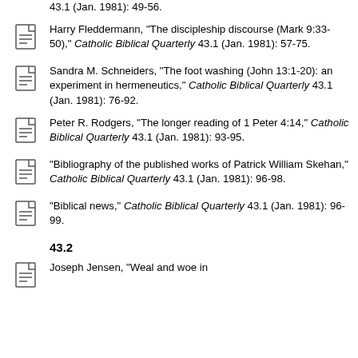43.1 (Jan. 1981): 49-56.
Harry Fleddermann, "The discipleship discourse (Mark 9:33-50)," Catholic Biblical Quarterly 43.1 (Jan. 1981): 57-75.
Sandra M. Schneiders, "The foot washing (John 13:1-20): an experiment in hermeneutics," Catholic Biblical Quarterly 43.1 (Jan. 1981): 76-92.
Peter R. Rodgers, "The longer reading of 1 Peter 4:14," Catholic Biblical Quarterly 43.1 (Jan. 1981): 93-95.
"Bibliography of the published works of Patrick William Skehan," Catholic Biblical Quarterly 43.1 (Jan. 1981): 96-98.
"Biblical news," Catholic Biblical Quarterly 43.1 (Jan. 1981): 96-99.
43.2
Joseph Jensen, "Weal and woe in